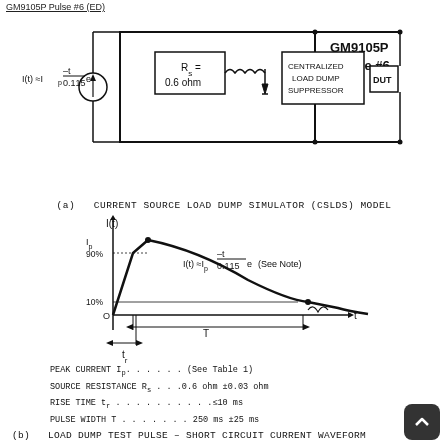GM9105P Pulse #6 (ED)
[Figure (circuit-diagram): Current Source Load Dump Simulator (CSLDS) model circuit with current source I(t)≈Ip*e^(-t/0.115), Rs=0.6 ohm, Centralized Load Dump Suppressor, and DUT in parallel. GM9105P Pulse #6 label on right.]
(a)  CURRENT SOURCE LOAD DUMP SIMULATOR (CSLDS) MODEL
[Figure (continuous-plot): Load dump test pulse waveform showing I(t) vs t. Peak current Ip with 90% and 10% markers, rise time tr, pulse width T, and exponential decay I(t)≈Ip*e^(-t/0.115).]
PEAK CURRENT Ip . . . . . . (See Table 1)
SOURCE RESISTANCE Rs . . . 0.6 ohm ±0.03 ohm
RISE TIME tr . . . . . . . . . . ≤10 ms
PULSE WIDTH T . . . . . . . 250 ms ±25 ms
(b)  LOAD DUMP TEST PULSE – SHORT CIRCUIT CURRENT WAVEFORM